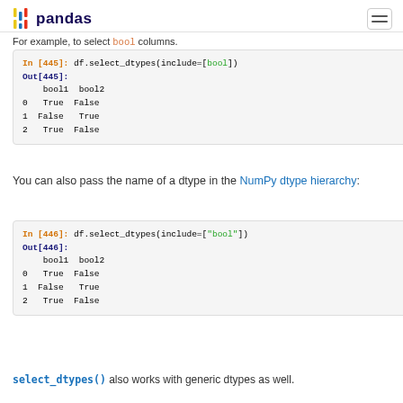pandas
For example, to select bool columns.
In [445]: df.select_dtypes(include=[bool])
Out[445]:
   bool1  bool2
0   True  False
1  False   True
2   True  False
You can also pass the name of a dtype in the NumPy dtype hierarchy:
In [446]: df.select_dtypes(include=["bool"])
Out[446]:
   bool1  bool2
0   True  False
1  False   True
2   True  False
select_dtypes() also works with generic dtypes as well.